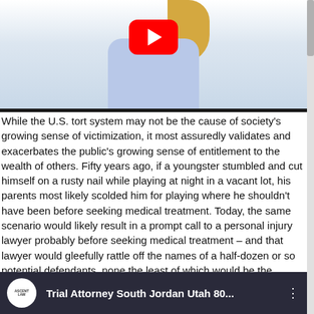[Figure (screenshot): Video thumbnail showing a woman in a blue dress with hands clasped at abdomen, with a YouTube red play button overlaid in center]
While the U.S. tort system may not be the cause of society's growing sense of victimization, it most assuredly validates and exacerbates the public's growing sense of entitlement to the wealth of others. Fifty years ago, if a youngster stumbled and cut himself on a rusty nail while playing at night in a vacant lot, his parents most likely scolded him for playing where he shouldn't have been before seeking medical treatment. Today, the same scenario would likely result in a prompt call to a personal injury lawyer probably before seeking medical treatment – and that lawyer would gleefully rattle off the names of a half-dozen or so potential defendants, none the least of which would be the manufacturer of the rusty nail that did the damage.
[Figure (screenshot): YouTube video thumbnail showing 'Trial Attorney South Jordan Utah 80...' with Ascent Law logo circle on dark background with bookshelf]